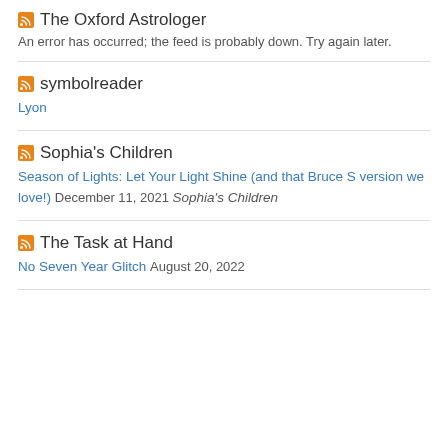The Oxford Astrologer
An error has occurred; the feed is probably down. Try again later.
symbolreader
Lyon
Sophia's Children
Season of Lights: Let Your Light Shine (and that Bruce S version we love!) December 11, 2021 Sophia's Children
The Task at Hand
No Seven Year Glitch August 20, 2022